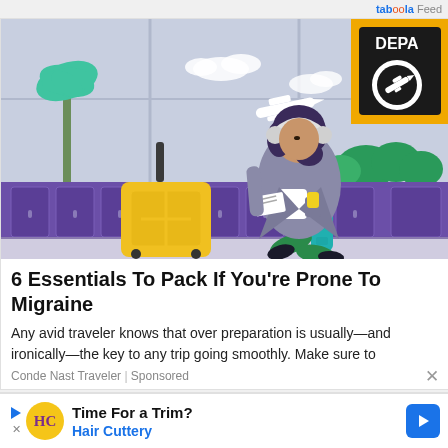taboola Feed
[Figure (illustration): Illustration of a woman with headphones sitting on airport bench with yellow luggage, palm trees, plane in sky, departure sign, and a teal water bottle nearby.]
6 Essentials To Pack If You're Prone To Migraine
Any avid traveler knows that over preparation is usually—and ironically—the key to any trip going smoothly. Make sure to
Conde Nast Traveler | Sponsored
[Figure (logo): Hair Cuttery ad banner with HC logo, 'Time For a Trim?' headline, 'Hair Cuttery' in blue, play button and blue arrow.]